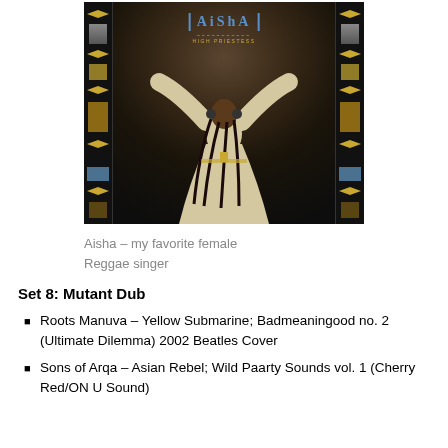[Figure (photo): Album cover for Aisha – High Priestess. A person in white robes with arms raised stands against a dark Egyptian-themed background with decorative pillars. The title 'Aisha' appears at the top in blue letters.]
Aisha – my favorite female Reggae singer
Set 8: Mutant Dub
Roots Manuva – Yellow Submarine; Badmeaningood no. 2 (Ultimate Dilemma) 2002 Beatles Cover
Sons of Arqa – Asian Rebel; Wild Paarty Sounds vol. 1 (Cherry Red/ON U Sound)